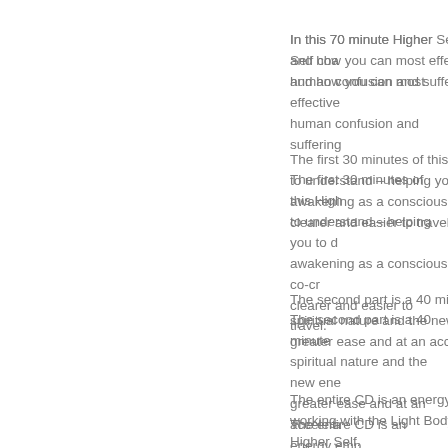In this 70 minute Higher Self cha... and how you can most effective... human confusion and suffering...
The first 30 minutes of this High... to understand – helping you to d... awakening as a conscious co-c... clearer and easier to travel.
The second part is a 40 minute ... spiritual nature and the new en... greater ease and at an accelera...
The entire CD is an energy emp... working with the Light Body acti... Higher Self.
This 70 minute teaching is acco...
May the Higher Self guidance h...
This Higher Self teaching...